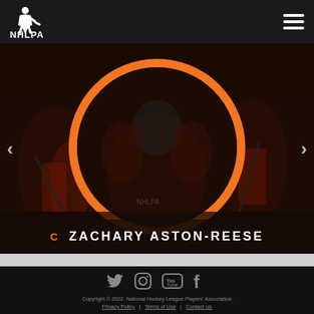[Figure (logo): NHLPA logo — white silhouette of hockey player with NHLPA text]
[Figure (screenshot): Hero image showing hockey player profile page with circular portrait placeholder outlined in orange, dark background with hockey players visible]
C  ZACHARY ASTON-REESE
[Figure (infographic): Social media icons row: Twitter bird, Instagram camera, YouTube play button, Facebook F — all in gray]
Copyright © 2022. National Hockey League Players' Association
Privacy Policy  |  Terms of Use  |  Contact Us